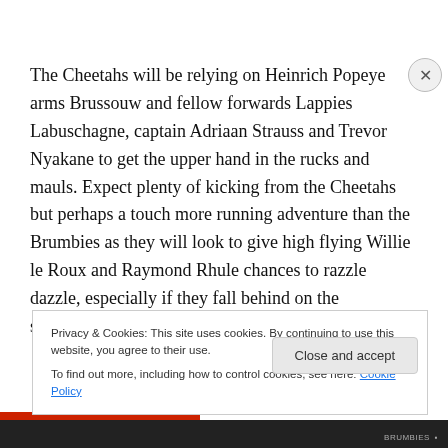The Cheetahs will be relying on Heinrich Popeye arms Brussouw and fellow forwards Lappies Labuschagne, captain Adriaan Strauss and Trevor Nyakane to get the upper hand in the rucks and mauls. Expect plenty of kicking from the Cheetahs but perhaps a touch more running adventure than the Brumbies as they will look to give high flying Willie le Roux and Raymond Rhule chances to razzle dazzle, especially if they fall behind on the scoreboard.
Privacy & Cookies: This site uses cookies. By continuing to use this website, you agree to their use.
To find out more, including how to control cookies, see here: Cookie Policy
Close and accept